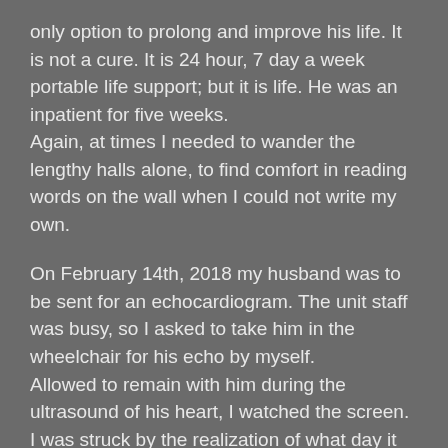only option to prolong and improve his life. It is not a cure. It is 24 hour, 7 day a week portable life support; but it is life. He was an inpatient for five weeks. Again, at times I needed to wander the lengthy halls alone, to find comfort in reading words on the wall when I could not write my own.

On February 14th, 2018 my husband was to be sent for an echocardiogram. The unit staff was busy, so I asked to take him in the wheelchair for his echo by myself. Allowed to remain with him during the ultrasound of his heart, I watched the screen. I was struck by the realization of what day it was on the calendar, as well as what I was observing.